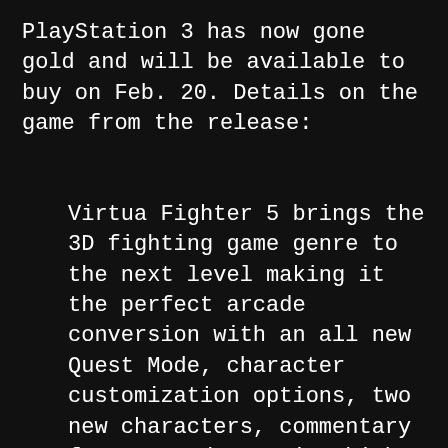PlayStation 3 has now gone gold and will be available to buy on Feb. 20. Details on the game from the release:
Virtua Fighter 5 brings the 3D fighting game genre to the next level making it the perfect arcade conversion with an all new Quest Mode, character customization options, two new characters, commentary feature and stunning high quality fighting environments.  The Quest Mode allows players to compete in various arcades to win prize money to buy items and fully customize each character. Two new characters, Eileen and El Blaze, round out the roster to 17 dynamic and different